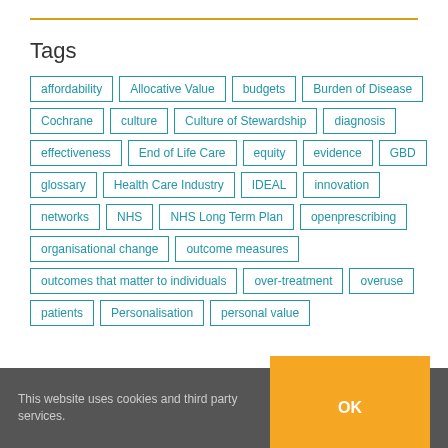Tags
affordability
Allocative Value
budgets
Burden of Disease
Cochrane
culture
Culture of Stewardship
diagnosis
effectiveness
End of Life Care
equity
evidence
GBD
glossary
Health Care Industry
IDEAL
innovation
networks
NHS
NHS Long Term Plan
openprescribing
organisational change
outcome measures
outcomes that matter to individuals
over-treatment
overuse
patients
Personalisation
personal value
This website uses cookies and third party services.
OK